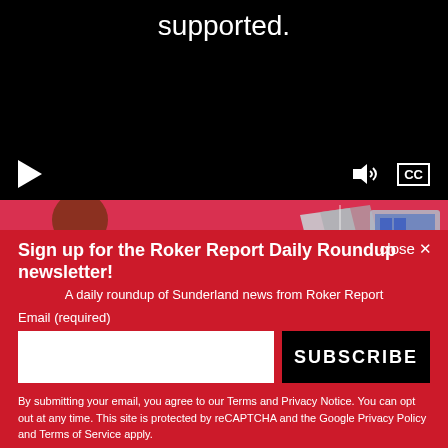[Figure (screenshot): Black video player with text 'supported.' visible at top center, play button on bottom left, volume and CC (closed captions) controls on bottom right]
[Figure (photo): Red/pink advertisement banner showing a woman with curly hair on the left, and two laptops/tablets on the right against a red background]
close ✕
Sign up for the Roker Report Daily Roundup newsletter!
A daily roundup of Sunderland news from Roker Report
Email (required)
SUBSCRIBE
By submitting your email, you agree to our Terms and Privacy Notice. You can opt out at any time. This site is protected by reCAPTCHA and the Google Privacy Policy and Terms of Service apply.